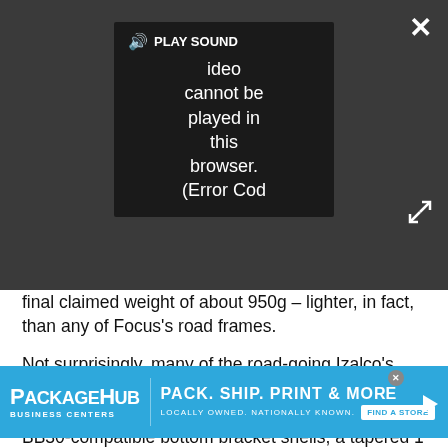[Figure (screenshot): Video player overlay showing error message: 'Video cannot be played in this browser. (Error Cod' with PLAY SOUND button and speaker icon, close button (X) and expand arrows, on dark background]
final claimed weight of about 950g – lighter, in fact, than any of Focus's road frames.
Not surprisingly, many of the road-going Izalco's features are translated over, including the 'elbowed' dropout design and slim seat stays for a softer ride, BB30-compatible bottom bracket shells, a tapered 1 1/8"-to-1 1/2" head tube, and internal cable routing run through molded-in carbon fiber reinforcing tubes.
[Figure (screenshot): PackageHub Business Centers advertisement banner in blue. Logo on left reads 'PackageHub Business Centers'. Tagline reads 'PACK. SHIP. PRINT & MORE'. Sub-text: 'LOCALLY OWNED. NATIONALLY KNOWN'. Find a Store button on right.]